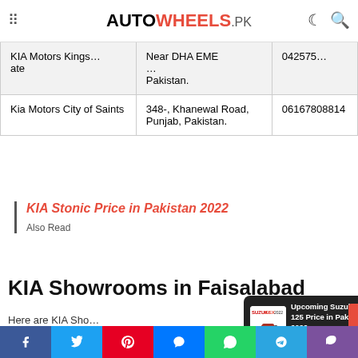AUTOWHEELS.PK
|  | Address | Phone |
| --- | --- | --- |
| Kia Motors Kings …ate | Near DHA EME … Pakistan. | 042… |
| Kia Motors City of Saints | 348-, Khanewal Road, Punjab, Pakistan. | 06167808814 |
KIA Stonic Price in Pakistan 2022
Also Read
KIA Showrooms in Faisalabad
Here are KIA Sho…
[Figure (screenshot): Notification popup: Upcoming Suzuki GSX 125 Price in Pakistan 2022 - 2 hours ago]
Social share bar: Facebook, Twitter, Pinterest, Messenger, WhatsApp, Telegram, Viber